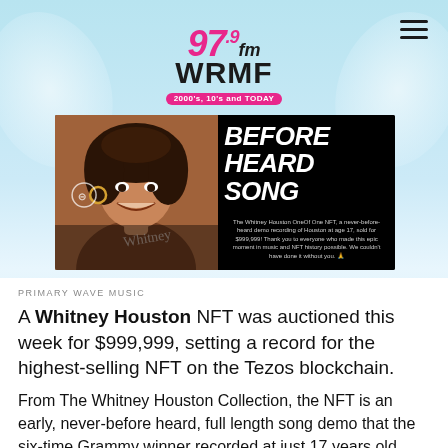97.9 fm WRMF — 2000's, 10's and TODAY
[Figure (photo): Whitney Houston NFT promotional banner image showing a woman smiling on the left side and bold text reading 'BEFORE HEARD SONG' on the right side on black background, with caption text about the Whitney Houston OneOf One NFT selling for $999,999]
PRIMARY WAVE MUSIC
A Whitney Houston NFT was auctioned this week for $999,999, setting a record for the highest-selling NFT on the Tezos blockchain.
From The Whitney Houston Collection, the NFT is an early, never-before heard, full length song demo that the six-time Grammy winner recorded at just 17 years old, along with a digital video created by 17-year-old artist Diana Sinclair.